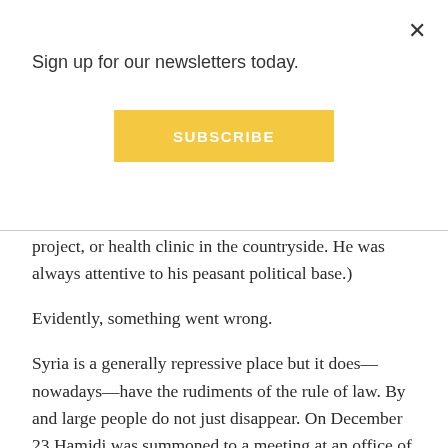Sign up for our newsletters today.
[Figure (other): Yellow SUBSCRIBE button]
project, or health clinic in the countryside. He was always attentive to his peasant political base.)
Evidently, something went wrong.
Syria is a generally repressive place but it does—nowadays—have the rudiments of the rule of law. By and large people do not just disappear. On December 23 Hamidi was summoned to a meeting at an office of one of the country's security organs. He was detained, and four days later the official news agency confirmed that he had been arrested. The Human Rights Association of Syria also distributed a statement that gave additional details about the arrest. (HRAS has its own woes. Two of its founding members were arrested in 2001